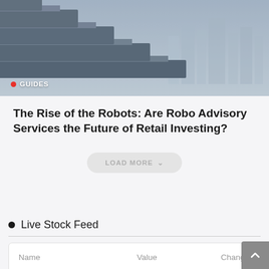[Figure (photo): Aerial or architectural view of concrete staircase steps with city skyline in background, blue-grey tones]
GUIDES
The Rise of the Robots: Are Robo Advisory Services the Future of Retail Investing?
LOAD MORE
Live Stock Feed
| Name | Value | Change |
| --- | --- | --- |
| INDICES |  |  |